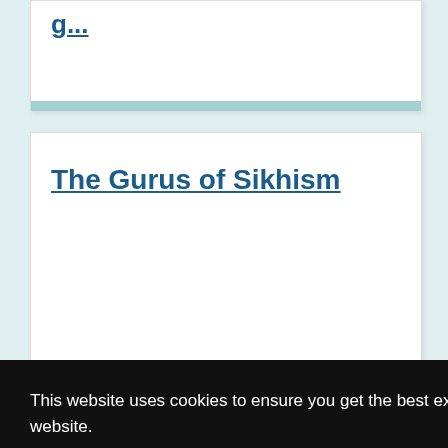The Gurus of Sikhism
Ascetic Sects
This website uses cookies to ensure you get the best experience on our website.
Got it!